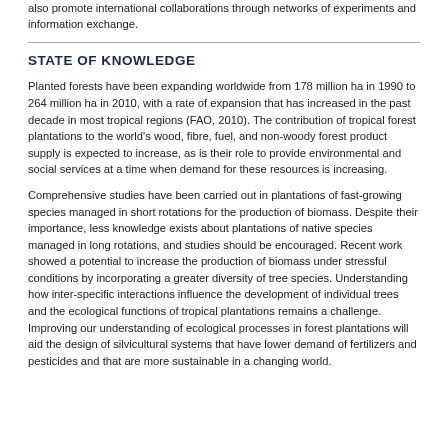also promote international collaborations through networks of experiments and information exchange.
STATE OF KNOWLEDGE
Planted forests have been expanding worldwide from 178 million ha in 1990 to 264 million ha in 2010, with a rate of expansion that has increased in the past decade in most tropical regions (FAO, 2010). The contribution of tropical forest plantations to the world's wood, fibre, fuel, and non-woody forest product supply is expected to increase, as is their role to provide environmental and social services at a time when demand for these resources is increasing.
Comprehensive studies have been carried out in plantations of fast-growing species managed in short rotations for the production of biomass. Despite their importance, less knowledge exists about plantations of native species managed in long rotations, and studies should be encouraged. Recent work showed a potential to increase the production of biomass under stressful conditions by incorporating a greater diversity of tree species. Understanding how inter-specific interactions influence the development of individual trees and the ecological functions of tropical plantations remains a challenge. Improving our understanding of ecological processes in forest plantations will aid the design of silvicultural systems that have lower demand of fertilizers and pesticides and that are more sustainable in a changing world.